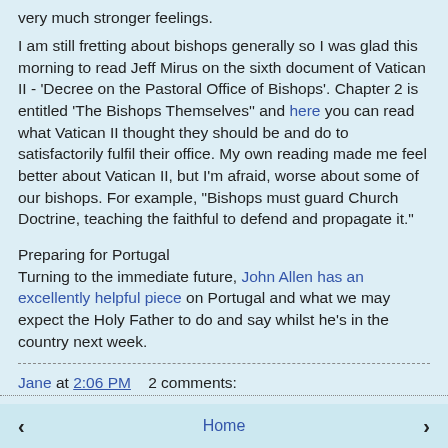very much stronger feelings.
I am still fretting about bishops generally so I was glad this morning to read Jeff Mirus on the sixth document of Vatican II - 'Decree on the Pastoral Office of Bishops'. Chapter 2 is entitled 'The Bishops Themselves'' and here you can read what Vatican II thought they should be and do to satisfactorily fulfil their office. My own reading made me feel better about Vatican II, but I'm afraid, worse about some of our bishops. For example, "Bishops must guard Church Doctrine, teaching the faithful to defend and propagate it."
Preparing for Portugal
Turning to the immediate future, John Allen has an excellently helpful piece on Portugal and what we may expect the Holy Father to do and say whilst he's in the country next week.
Jane at 2:06 PM    2 comments:
Home